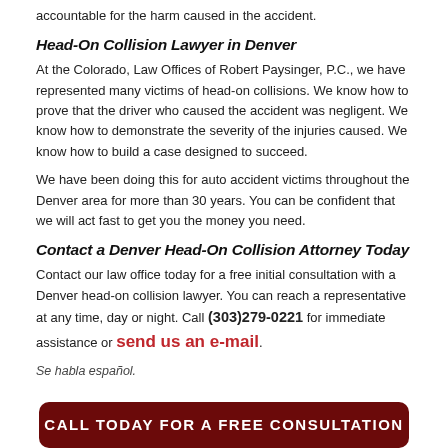accountable for the harm caused in the accident.
Head-On Collision Lawyer in Denver
At the Colorado, Law Offices of Robert Paysinger, P.C., we have represented many victims of head-on collisions. We know how to prove that the driver who caused the accident was negligent. We know how to demonstrate the severity of the injuries caused. We know how to build a case designed to succeed.
We have been doing this for auto accident victims throughout the Denver area for more than 30 years. You can be confident that we will act fast to get you the money you need.
Contact a Denver Head-On Collision Attorney Today
Contact our law office today for a free initial consultation with a Denver head-on collision lawyer. You can reach a representative at any time, day or night. Call (303)279-0221 for immediate assistance or send us an e-mail.
Se habla español.
[Figure (other): Dark red rounded button with white bold text reading CALL TODAY FOR A FREE CONSULTATION]